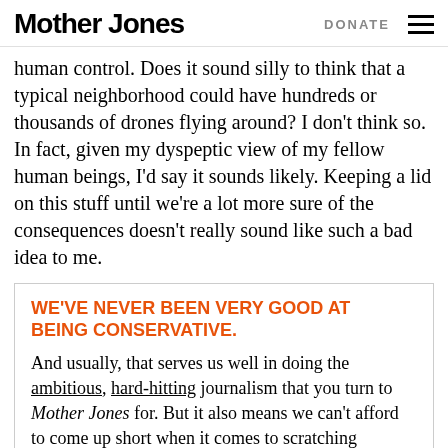Mother Jones   DONATE
human control. Does it sound silly to think that a typical neighborhood could have hundreds or thousands of drones flying around? I don't think so. In fact, given my dyspeptic view of my fellow human beings, I'd say it sounds likely. Keeping a lid on this stuff until we're a lot more sure of the consequences doesn't really sound like such a bad idea to me.
WE'VE NEVER BEEN VERY GOOD AT BEING CONSERVATIVE.
And usually, that serves us well in doing the ambitious, hard-hitting journalism that you turn to Mother Jones for. But it also means we can't afford to come up short when it comes to scratching together the funds it takes to keep